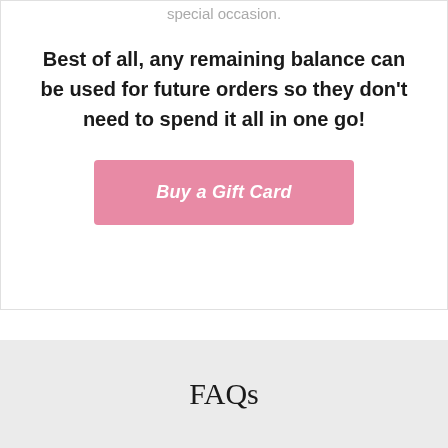special occasion.
Best of all, any remaining balance can be used for future orders so they don't need to spend it all in one go!
[Figure (other): Pink button labeled 'Buy a Gift Card']
FAQs